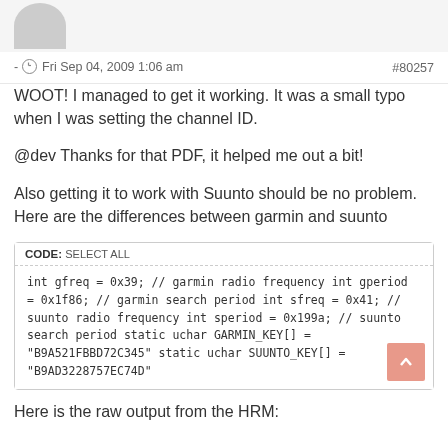[avatar image]
- ⊙ Fri Sep 04, 2009 1:06 am    #80257
WOOT! I managed to get it working. It was a small typo when I was setting the channel ID.
@dev Thanks for that PDF, it helped me out a bit!
Also getting it to work with Suunto should be no problem. Here are the differences between garmin and suunto
[Figure (screenshot): Code block labeled CODE: SELECT ALL containing C code with garmin and suunto radio frequency and key definitions]
Here is the raw output from the HRM: